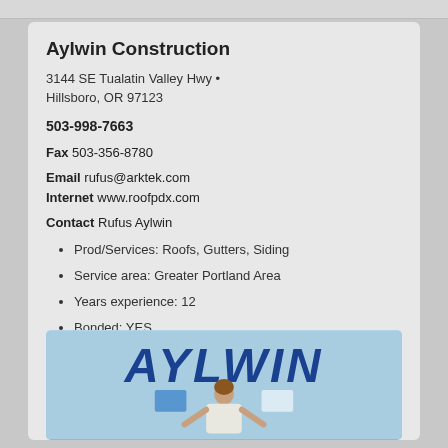Aylwin Construction
3144 SE Tualatin Valley Hwy • Hillsboro, OR 97123
503-998-7663
Fax 503-356-8780
Email rufus@arktek.com
Internet www.roofpdx.com
Contact Rufus Aylwin
Prod/Services: Roofs, Gutters, Siding
Service area: Greater Portland Area
Years experience: 12
Bonded: YES
Contr# 104039
[Figure (logo): Aylwin Construction logo with company name in bold italic blue text over a blue background with a person figure below]